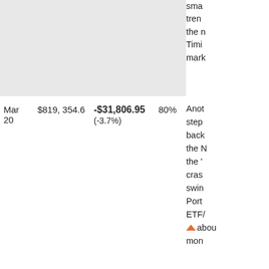[Figure (other): Gray shaded block representing a previous table row or chart area (cropped from above)]
| Date | Portfolio Value | Change ($) | Allocation |
| --- | --- | --- | --- |
| Mar 20 | $819,354.6 | -$31,806.95 (-3.7%) | 80% |
sma trend the n Timi mark
Anot step back the N the ' cras swin Port ETF/ abou mon